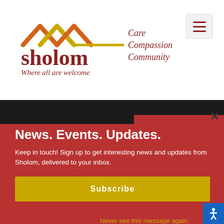[Figure (logo): Sholom logo with roofline graphic in orange/gold and dark red text reading 'sholom', with tagline 'Care Compassion Community' in dark red and subtitle 'Where all are welcome' in italic dark red]
[Figure (other): Hamburger menu icon (three horizontal lines) in a light gray rounded rectangle button]
News. Events. Updates.
Keep in touch! Sign up to get interesting news and updates from Sholom, delivered to your inbox.
Subscribe
Never see this message again.
Careers
Newsletter
Privacy Policy
Terms of Use